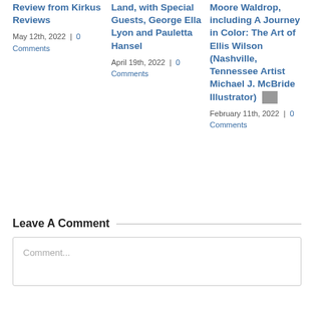Review from Kirkus Reviews
May 12th, 2022  |  0 Comments
Land, with Special Guests, George Ella Lyon and Pauletta Hansel
April 19th, 2022  |  0 Comments
Moore Waldrop, including A Journey in Color: The Art of Ellis Wilson (Nashville, Tennessee Artist Michael J. McBride Illustrator)
February 11th, 2022  |  0 Comments
Leave A Comment
Comment...